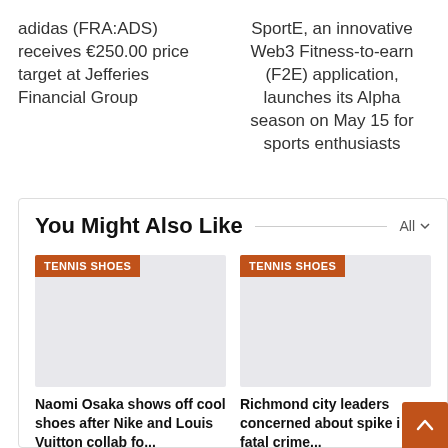adidas (FRA:ADS) receives €250.00 price target at Jefferies Financial Group
SportE, an innovative Web3 Fitness-to-earn (F2E) application, launches its Alpha season on May 15 for sports enthusiasts
You Might Also Like
[Figure (other): Gray placeholder image card with orange TENNIS SHOES tag]
Naomi Osaka shows off cool shoes after Nike and Louis Vuitton collab for...
[Figure (other): Gray placeholder image card with orange TENNIS SHOES tag]
Richmond city leaders concerned about spike in fatal crimes...